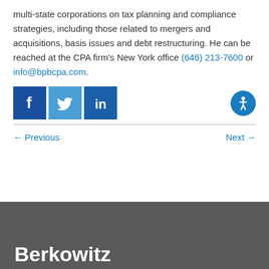multi-state corporations on tax planning and compliance strategies, including those related to mergers and acquisitions, basis issues and debt restructuring. He can be reached at the CPA firm's New York office (646) 213-7600 or info@bpbcpa.com.
[Figure (other): Social media icons: Facebook (blue), Twitter (light blue), LinkedIn (blue), and an accessibility icon (blue circle with person symbol)]
← Previous    Next →
Berkowitz